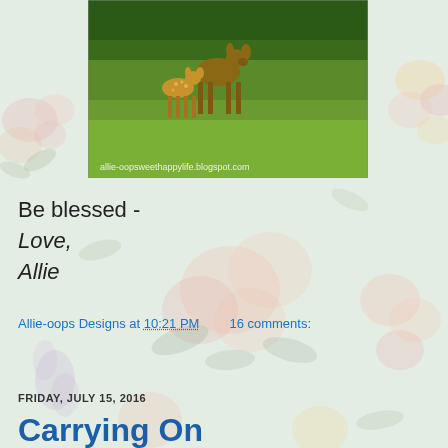[Figure (photo): Photograph of a white-tailed deer with a spotted fawn standing on green grass. Watermark text at bottom: allie-oopsweethappylife.blogspot.com]
Be blessed -
Love,
Allie
Allie-oops Designs at 10:21 PM    16 comments:
Share
FRIDAY, JULY 15, 2016
Carrying On